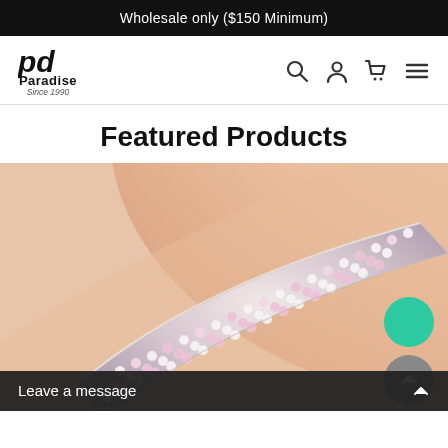Wholesale only ($150 Minimum)
[Figure (logo): Paradise jewelry brand logo with stylized 'pd' icon and text 'Paradise Since 1990']
Featured Products
[Figure (photo): Close-up photo of a woman's wrist wearing a wide crystal/rhinestone cuff bracelet with pink and clear stones, on a peach/skin-tone background]
Leave a message